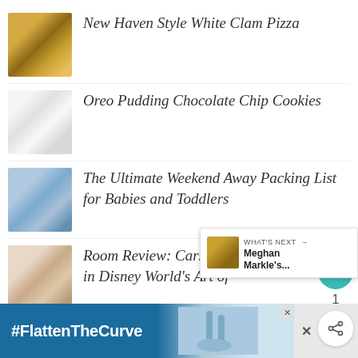New Haven Style White Clam Pizza
Oreo Pudding Chocolate Chip Cookies
The Ultimate Weekend Away Packing List for Babies and Toddlers
Room Review: Cars Fa... in Disney World's Art of
[Figure (screenshot): Advertisement banner with #FlattenTheCurve hashtag and handwashing image]
[Figure (infographic): WHAT'S NEXT overlay showing Meghan Markle's next article teaser with thumbnail]